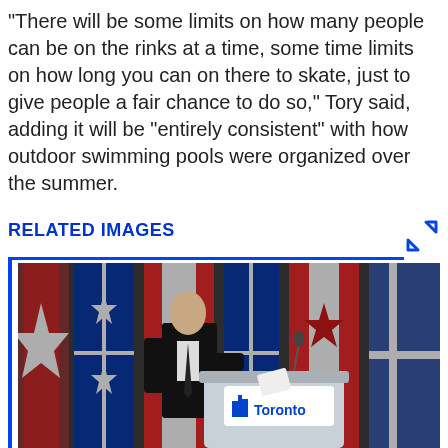"There will be some limits on how many people can be on the rinks at a time, some time limits on how long you can on there to skate, just to give people a fair chance to do so," Tory said, adding it will be "entirely consistent" with how outdoor swimming pools were organized over the summer.
RELATED IMAGES
[Figure (photo): A man in a black suit standing at a Toronto city podium with Canadian and Quebec flags in the background during a press conference.]